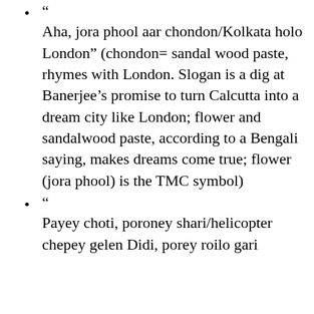“ Aha, jora phool aar chondon/Kolkata holo London” (chondon= sandal wood paste, rhymes with London. Slogan is a dig at Banerjee’s promise to turn Calcutta into a dream city like London; flower and sandalwood paste, according to a Bengali saying, makes dreams come true; flower (jora phool) is the TMC symbol)
“ Payey choti, poroney shari/helicopter chepey gelen Didi, porey roilo gari